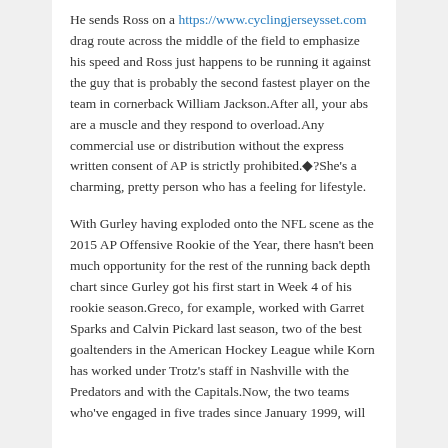He sends Ross on a https://www.cyclingjerseysset.com drag route across the middle of the field to emphasize his speed and Ross just happens to be running it against the guy that is probably the second fastest player on the team in cornerback William Jackson.After all, your abs are a muscle and they respond to overload.Any commercial use or distribution without the express written consent of AP is strictly prohibited.◆?She's a charming, pretty person who has a feeling for lifestyle.
With Gurley having exploded onto the NFL scene as the 2015 AP Offensive Rookie of the Year, there hasn't been much opportunity for the rest of the running back depth chart since Gurley got his first start in Week 4 of his rookie season.Greco, for example, worked with Garret Sparks and Calvin Pickard last season, two of the best goaltenders in the American Hockey League while Korn has worked under Trotz's staff in Nashville with the Predators and with the Capitals.Now, the two teams who've engaged in five trades since January 1999, will